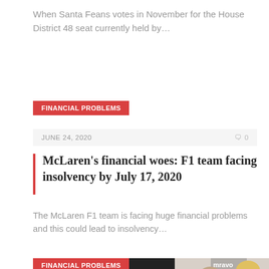When Santa Feans votes in November for the House District 48 seat currently held by…
FINANCIAL PROBLEMS
JUNE 24, 2020   🗨 0
McLaren's financial woes: F1 team facing insolvency by July 17, 2020
The McLaren F1 team is facing huge financial problems and this could lead to insolvency…
FINANCIAL PROBLEMS
[Figure (photo): Photo collage: woman with phone on left (dark background), man and blonde woman on right (light background with Bravo logo)]